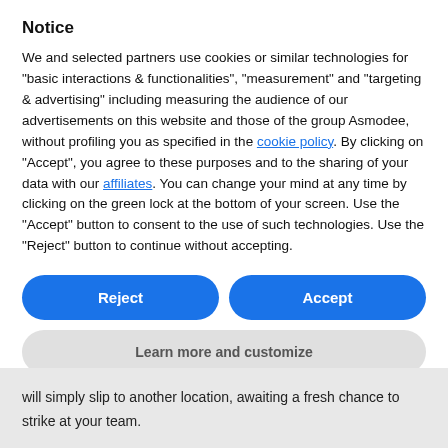Notice
We and selected partners use cookies or similar technologies for “basic interactions & functionalities”, “measurement” and “targeting & advertising” including measuring the audience of our advertisements on this website and those of the group Asmodee, without profiling you as specified in the cookie policy. By clicking on “Accept”, you agree to these purposes and to the sharing of your data with our affiliates. You can change your mind at any time by clicking on the green lock at the bottom of your screen. Use the “Accept” button to consent to the use of such technologies. Use the “Reject” button to continue without accepting.
Reject
Accept
Learn more and customize
will simply slip to another location, awaiting a fresh chance to strike at your team.